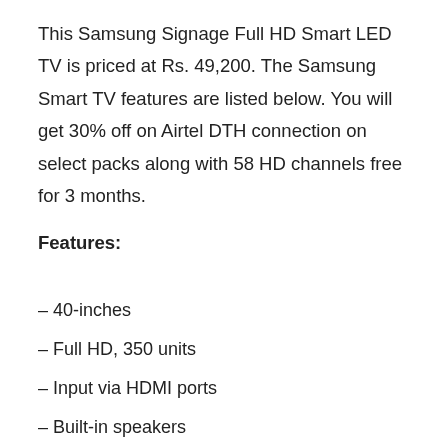This Samsung Signage Full HD Smart LED TV is priced at Rs. 49,200. The Samsung Smart TV features are listed below. You will get 30% off on Airtel DTH connection on select packs along with 58 HD channels free for 3 months.
Features:
– 40-inches
– Full HD, 350 units
– Input via HDMI ports
– Built-in speakers
– 178 degrees viewing angles